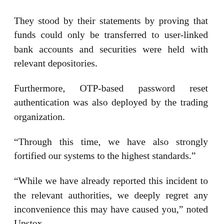They stood by their statements by proving that funds could only be transferred to user-linked bank accounts and securities were held with relevant depositories.
Furthermore, OTP-based password reset authentication was also deployed by the trading organization.
“Through this time, we have also strongly fortified our systems to the highest standards.”
“While we have already reported this incident to the relevant authorities, we deeply regret any inconvenience this may have caused you,” noted Upstox